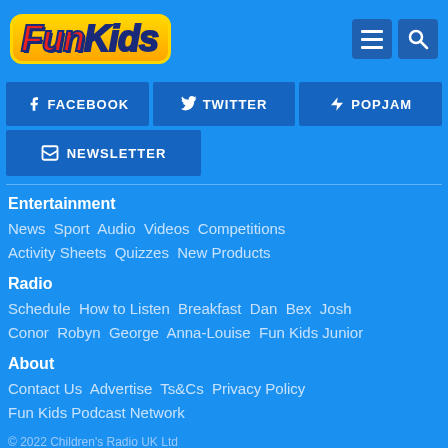Fun Kids - Header with logo, menu and search icons
[Figure (logo): Fun Kids radio logo with colorful text on yellow/orange background]
FACEBOOK
TWITTER
POPJAM
NEWSLETTER
Entertainment
News  Sport  Audio  Videos  Competitions  Activity Sheets  Quizzes  New Products
Radio
Schedule  How to Listen  Breakfast  Dan  Bex  Josh  Conor  Robyn  George  Anna-Louise  Fun Kids Junior
About
Contact Us  Advertise  Ts&Cs  Privacy Policy  Fun Kids Podcast Network
© 2022 Children's Radio UK Ltd